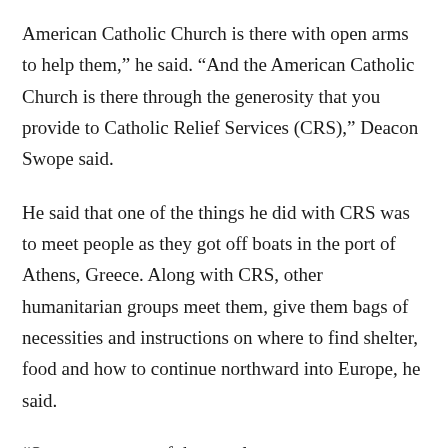American Catholic Church is there with open arms to help them,” he said. “And the American Catholic Church is there through the generosity that you provide to Catholic Relief Services (CRS),” Deacon Swope said.
He said that one of the things he did with CRS was to meet people as they got off boats in the port of Athens, Greece. Along with CRS, other humanitarian groups meet them, give them bags of necessities and instructions on where to find shelter, food and how to continue northward into Europe, he said.
“Seventy percent of the people we saw were women and children,” he said. “Thirty percent were men. Most of the